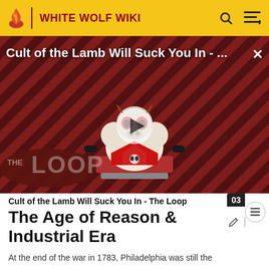WHITE WOLF WIKI
[Figure (screenshot): Video thumbnail for 'Cult of the Lamb Will Suck You In - The Loop' showing a cartoon lamb character on a red striped background with a play button overlay and THE LOOP badge in the lower left]
Cult of the Lamb Will Suck You In - The Loop
The Age of Reason & Industrial Era
At the end of the war in 1783, Philadelphia was still the